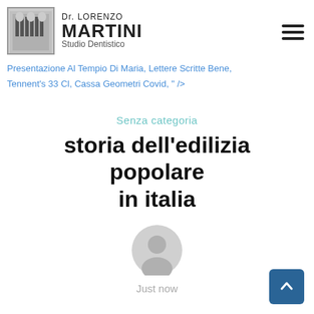Dr. Lorenzo Martini Studio Dentistico
Presentazione Al Tempio Di Maria, Lettere Scritte Bene, Tennent's 33 Cl, Cassa Geometri Covid, " />
Senza categoria
storia dell'edilizia popolare in italia
[Figure (illustration): Generic user avatar icon, circular, grey silhouette of a person]
Just now